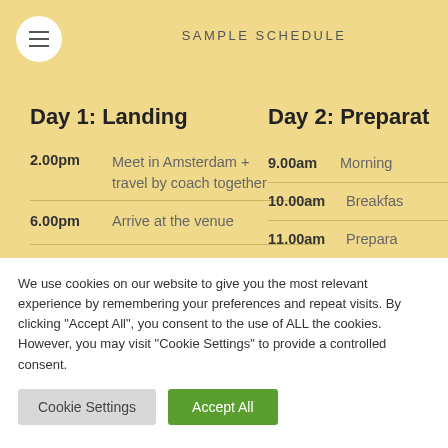SAMPLE SCHEDULE
Day 1: Landing
2.00pm   Meet in Amsterdam + travel by coach together
6.00pm   Arrive at the venue
Day 2: Preparat...
9.00am   Morning...
10.00am   Breakfas...
11.00am   Prepara...
We use cookies on our website to give you the most relevant experience by remembering your preferences and repeat visits. By clicking "Accept All", you consent to the use of ALL the cookies. However, you may visit "Cookie Settings" to provide a controlled consent.
Cookie Settings | Accept All